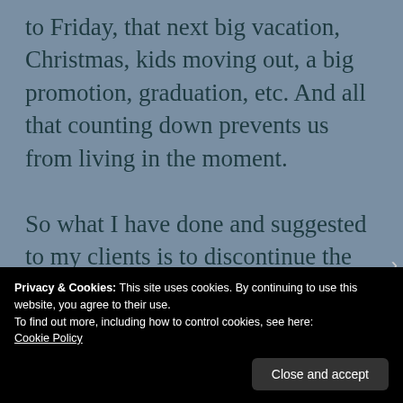to Friday, that next big vacation, Christmas, kids moving out, a big promotion, graduation, etc. And all that counting down prevents us from living in the moment.

So what I have done and suggested to my clients is to discontinue the countdown routine. Focus on what
Privacy & Cookies: This site uses cookies. By continuing to use this website, you agree to their use.
To find out more, including how to control cookies, see here:
Cookie Policy
Close and accept